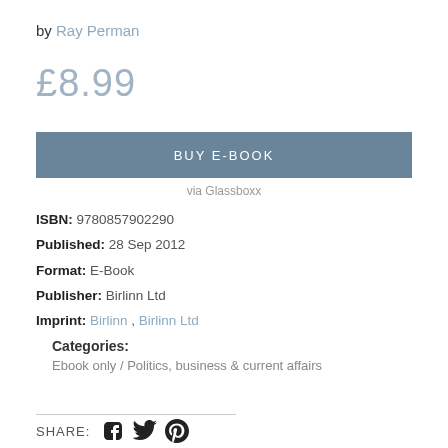by Ray Perman
£8.99
BUY E-BOOK
via Glassboxx
ISBN: 9780857902290
Published: 28 Sep 2012
Format: E-Book
Publisher: Birlinn Ltd
Imprint: Birlinn , Birlinn Ltd
Categories:
Ebook only / Politics, business & current affairs
SHARE: